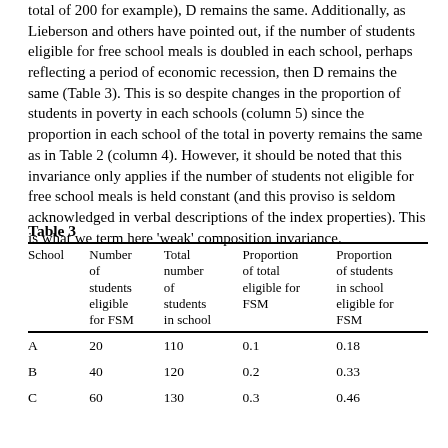total of 200 for example), D remains the same. Additionally, as Lieberson and others have pointed out, if the number of students eligible for free school meals is doubled in each school, perhaps reflecting a period of economic recession, then D remains the same (Table 3). This is so despite changes in the proportion of students in poverty in each schools (column 5) since the proportion in each school of the total in poverty remains the same as in Table 2 (column 4). However, it should be noted that this invariance only applies if the number of students not eligible for free school meals is held constant (and this proviso is seldom acknowledged in verbal descriptions of the index properties). This is what we term here 'weak' composition invariance.
Table 3
| School | Number of students eligible for FSM | Total number of students in school | Proportion of total eligible for FSM | Proportion of students in school eligible for FSM |
| --- | --- | --- | --- | --- |
| A | 20 | 110 | 0.1 | 0.18 |
| B | 40 | 120 | 0.2 | 0.33 |
| C | 60 | 130 | 0.3 | 0.46 |